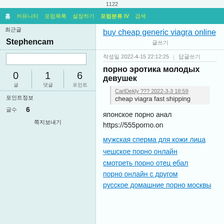1122
홈 | 커뮤니티 | 포럼목록 | 설정하기 | 포럼분류 IV | 검색
최근글
buy cheap generic viagra online
글쓰기
Stephencam
작성일 2022-4-15 22:12:25 | 답글쓰기
порно эротика молодых девушек
0 글 | 1 댓글 | 6 포인트
포인트정보
글수 6
쪽지보내기
CarlDekly ??? 2022-3-3 18:59
cheap viagra fast shipping
японское порно анал  https://555porno.on
мужская сперма для кожи лица
чешское порно онлайн
смотреть порно отец ебал
порно онлайн с другом
русское домашние порно москвы